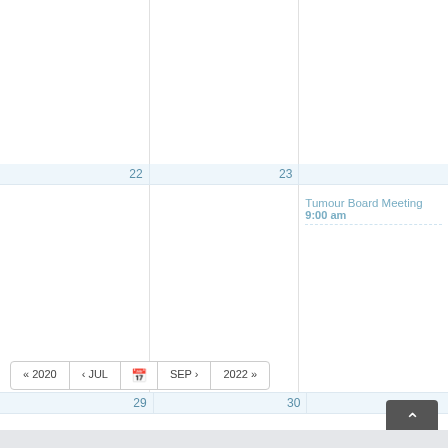[Figure (other): Calendar view showing partial weeks. Week row with days 22 and 23 visible. Day 23 (Wednesday) has event 'Tumour Board Meeting' at 9:00 am. Week row with days 29 and 30. Day 30 (Wednesday) has event 'Tumour Board Meeting' at 9:00 am. Navigation bar below with buttons: « 2020, < JUL, calendar icon, SEP >, 2022 ». Scroll-to-top button at bottom right. Light blue footer bar at bottom.]